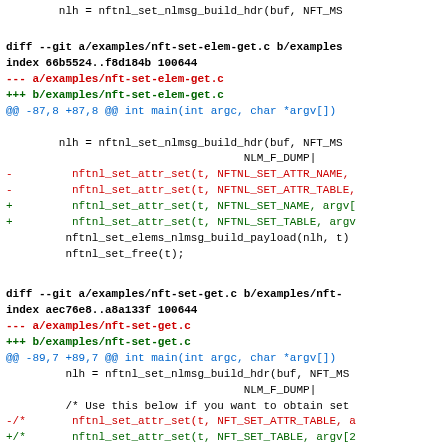nlh = nftnl_set_nlmsg_build_hdr(buf, NFT_MS
diff --git a/examples/nft-set-elem-get.c b/examples
index 66b5524..f8d184b 100644
--- a/examples/nft-set-elem-get.c
+++ b/examples/nft-set-elem-get.c
@@ -87,8 +87,8 @@ int main(int argc, char *argv[])
nlh = nftnl_set_nlmsg_build_hdr(buf, NFT_MS
                                    NLM_F_DUMP|
-         nftnl_set_attr_set(t, NFTNL_SET_ATTR_NAME,
-         nftnl_set_attr_set(t, NFTNL_SET_ATTR_TABLE,
+         nftnl_set_attr_set(t, NFTNL_SET_NAME, argv[
+         nftnl_set_attr_set(t, NFTNL_SET_TABLE, argv
         nftnl_set_elems_nlmsg_build_payload(nlh, t)
         nftnl_set_free(t);
diff --git a/examples/nft-set-get.c b/examples/nft-
index aec76e8..a8a133f 100644
--- a/examples/nft-set-get.c
+++ b/examples/nft-set-get.c
@@ -89,7 +89,7 @@ int main(int argc, char *argv[])
nlh = nftnl_set_nlmsg_build_hdr(buf, NFT_MS
                                    NLM_F_DUMP|
         /* Use this below if you want to obtain set
-/*       nftnl_set_attr_set(t, NFT_SET_ATTR_TABLE, a
+/*       nftnl_set_attr_set(t, NFT_SET_TABLE, argv[2
         nftnl_set_nlmsg_build_payload(nlh, t);
         nftl_set_free(t);